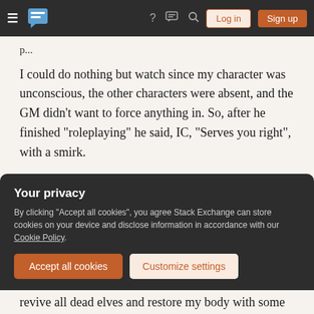Stack Exchange navigation bar with Log in and Sign up buttons
I could do nothing but watch since my character was unconscious, the other characters were absent, and the GM didn't want to force anything in. So, after he finished "roleplaying" he said, IC, "Serves you right", with a smirk.
Afterward, everybody seemed uncomfortable including me. But, since I was a noob I just figured those kinds of things happened in RPGs and rolled with it. I began imagining ways my character could still be useful as a
Your privacy
By clicking "Accept all cookies", you agree Stack Exchange can store cookies on your device and disclose information in accordance with our Cookie Policy.
Accept all cookies
Customize settings
revive all dead elves and restore my body with some